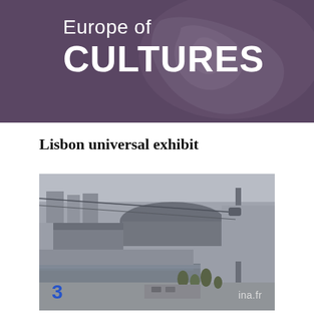Europe of CULTURES
Lisbon universal exhibit
[Figure (photo): Aerial/elevated view of the Lisbon Universal Exhibition (Expo 98) site, showing large pavilion buildings, a waterway, cable car lines, and surrounding urban landscape under a hazy sky. A France 3 logo appears in the lower left and 'ina.fr' watermark in the lower right.]